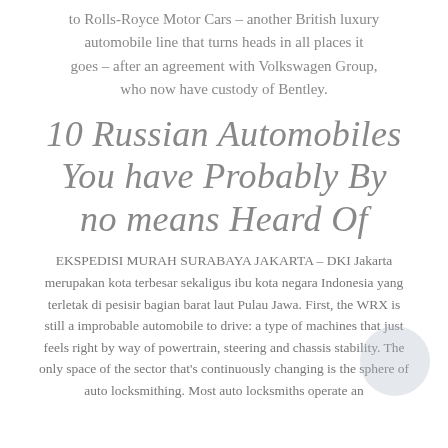to Rolls-Royce Motor Cars – another British luxury automobile line that turns heads in all places it goes – after an agreement with Volkswagen Group, who now have custody of Bentley.
10 Russian Automobiles You have Probably By no means Heard Of
EKSPEDISI MURAH SURABAYA JAKARTA – DKI Jakarta merupakan kota terbesar sekaligus ibu kota negara Indonesia yang terletak di pesisir bagian barat laut Pulau Jawa. First, the WRX is still a improbable automobile to drive: a type of machines that just feels right by way of powertrain, steering and chassis stability. The only space of the sector that's continuously changing is the sphere of auto locksmithing. Most auto locksmiths operate an